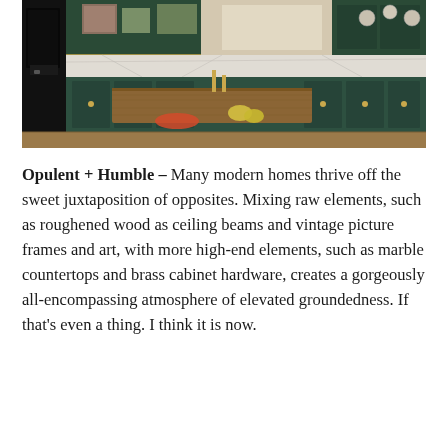[Figure (photo): Interior photo of a modern kitchen with dark forest green cabinets, white marble countertops and backsplash, brass hardware, a large wooden island/table in the center with fruit and candles, and a black oven on the left.]
Opulent + Humble – Many modern homes thrive off the sweet juxtaposition of opposites. Mixing raw elements, such as roughened wood as ceiling beams and vintage picture frames and art, with more high-end elements, such as marble countertops and brass cabinet hardware, creates a gorgeously all-encompassing atmosphere of elevated groundedness. If that's even a thing. I think it is now.